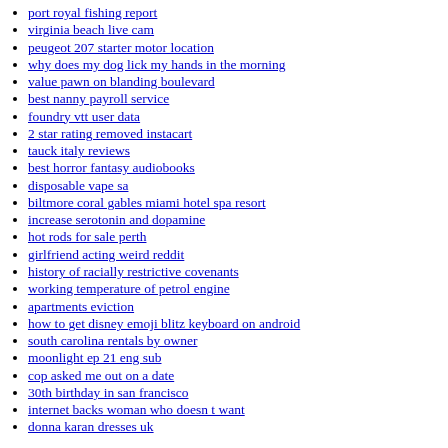port royal fishing report
virginia beach live cam
peugeot 207 starter motor location
why does my dog lick my hands in the morning
value pawn on blanding boulevard
best nanny payroll service
foundry vtt user data
2 star rating removed instacart
tauck italy reviews
best horror fantasy audiobooks
disposable vape sa
biltmore coral gables miami hotel spa resort
increase serotonin and dopamine
hot rods for sale perth
girlfriend acting weird reddit
history of racially restrictive covenants
working temperature of petrol engine
apartments eviction
how to get disney emoji blitz keyboard on android
south carolina rentals by owner
moonlight ep 21 eng sub
cop asked me out on a date
30th birthday in san francisco
internet backs woman who doesn t want
donna karan dresses uk